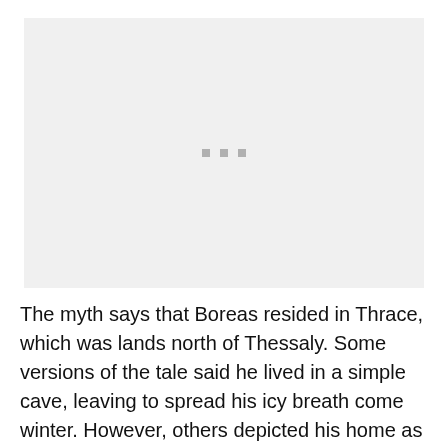[Figure (other): Placeholder image area with three small grey squares centered, on a light grey background.]
The myth says that Boreas resided in Thrace, which was lands north of Thessaly. Some versions of the tale said he lived in a simple cave, leaving to spread his icy breath come winter. However, others depicted his home as a great palace fit for a god. Later tales also speak of Boreas living on the